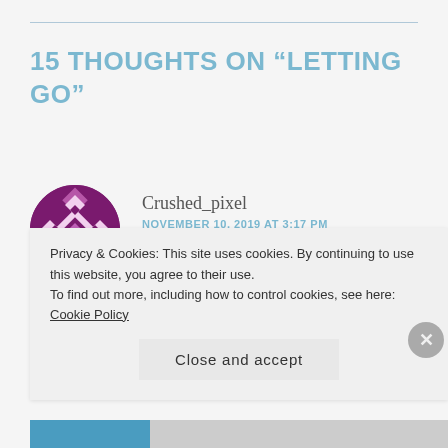15 THOUGHTS ON “LETTING GO”
[Figure (illustration): Purple geometric quilt-pattern avatar icon for user Crushed_pixel]
Crushed_pixel
NOVEMBER 10, 2019 AT 3:17 PM
Touching.
★ Like
REPLY
Privacy & Cookies: This site uses cookies. By continuing to use this website, you agree to their use.
To find out more, including how to control cookies, see here: Cookie Policy
Close and accept